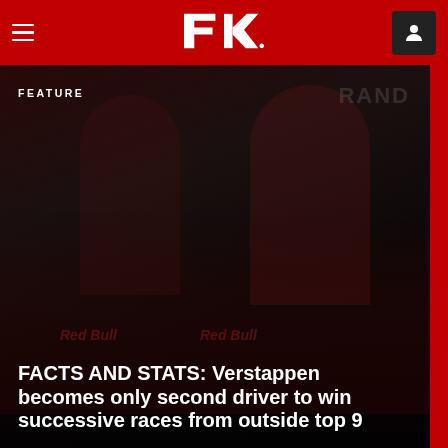F1 Navigation bar with hamburger menu, F1 logo, and user icon
[Figure (photo): Hero image showing Red Bull F1 drivers on podium with dark overlay. Text overlay reads FEATURE and article headline.]
FACTS AND STATS: Verstappen becomes only second driver to win successive races from outside top 9
DOWNLOAD THE OFFICIAL F1 APP
[Figure (other): Google Play store download button]
[Figure (other): Apple App Store download button]
[Figure (other): Social media icons row: Facebook, Twitter, Instagram, YouTube]
Our partners >
[Figure (logo): Partner logos row: Rolex, star logo, and another brand logo]